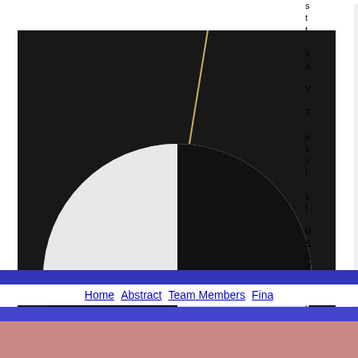[Figure (photo): Secchi Disk — a circular black and white divided disk photographed in dark water]
Secchi Disk
[Figure (photo): TeraScan System — satellite dish antenna and rack-mounted computer hardware]
TeraScan System
Home   Abstract   Team Members   Fina...